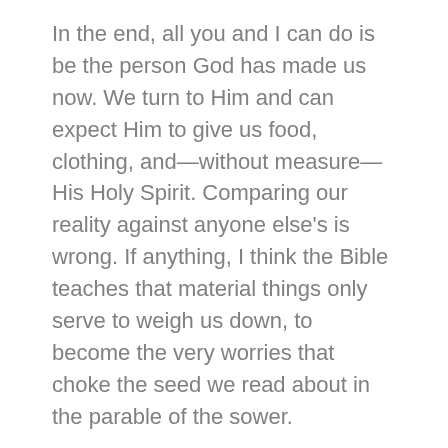In the end, all you and I can do is be the person God has made us now. We turn to Him and can expect Him to give us food, clothing, and—without measure—His Holy Spirit. Comparing our reality against anyone else's is wrong. If anything, I think the Bible teaches that material things only serve to weigh us down, to become the very worries that choke the seed we read about in the parable of the sower.
It's not so much that we ask our Heavenly Father for an egg and He instead gives us a scorpion. It's that we want a factory filled with eggs and want almost nothing of our Father Himself. And we get disappointed with Him when we see evidence that God might have something different for us. Then we become afraid that we will never get our egg factory